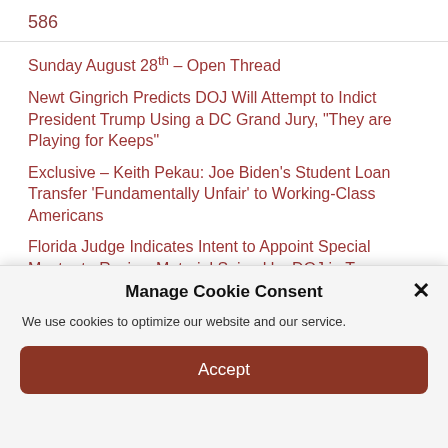586
Sunday August 28th – Open Thread
Newt Gingrich Predicts DOJ Will Attempt to Indict President Trump Using a DC Grand Jury, “They are Playing for Keeps”
Exclusive – Keith Pekau: Joe Biden’s Student Loan Transfer ‘Fundamentally Unfair’ to Working-Class Americans
Florida Judge Indicates Intent to Appoint Special Master to Review Material Seized by DOJ in Trump Raid
Biden’s laptop and Zuckerberg’s tangle of whispers
Manage Cookie Consent
We use cookies to optimize our website and our service.
Accept